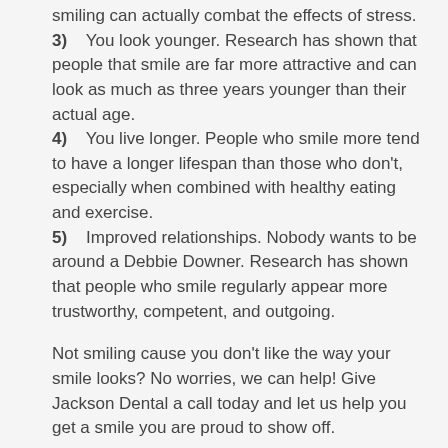smiling can actually combat the effects of stress.
3)   You look younger. Research has shown that people that smile are far more attractive and can look as much as three years younger than their actual age.
4)   You live longer. People who smile more tend to have a longer lifespan than those who don't, especially when combined with healthy eating and exercise.
5)   Improved relationships. Nobody wants to be around a Debbie Downer. Research has shown that people who smile regularly appear more trustworthy, competent, and outgoing.
Not smiling cause you don't like the way your smile looks? No worries, we can help! Give Jackson Dental a call today and let us help you get a smile you are proud to show off.